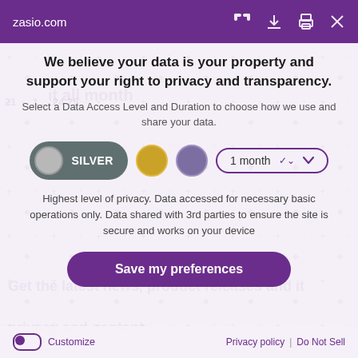zasio.com
We believe your data is your property and support your right to privacy and transparency.
Select a Data Access Level and Duration to choose how we use and share your data.
[Figure (infographic): Privacy level selector with Silver button selected, Gold and Purple circle options, and a 1 month dropdown]
Highest level of privacy. Data accessed for necessary basic operations only. Data shared with 3rd parties to ensure the site is secure and works on your device
Save my preferences
Customize   Privacy policy | Do Not Sell